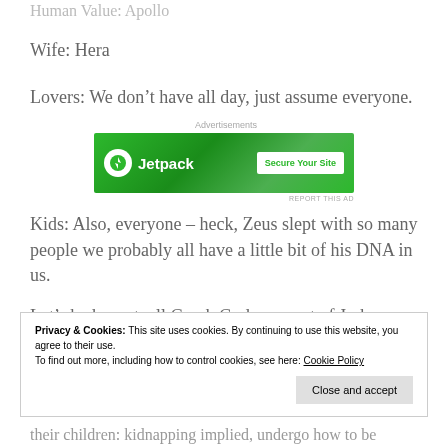Human Value: Apollo
Wife: Hera
Lovers: We don’t have all day, just assume everyone.
[Figure (other): Jetpack advertisement banner with green background, Jetpack logo and 'Secure Your Site' button]
Kids: Also, everyone – heck, Zeus slept with so many people we probably all have a little bit of his DNA in us.
Let’s be honest, all Greek Gods are sort of Jerks – that’s
Privacy & Cookies: This site uses cookies. By continuing to use this website, you agree to their use.
To find out more, including how to control cookies, see here: Cookie Policy
their children: kidnapping implied, undergo how to be